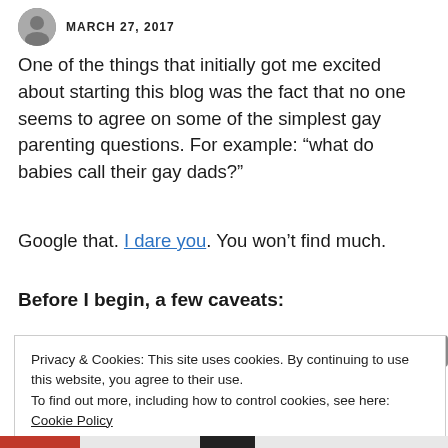MARCH 27, 2017
One of the things that initially got me excited about starting this blog was the fact that no one seems to agree on some of the simplest gay parenting questions. For example: “what do babies call their gay dads?”
Google that. I dare you. You won’t find much.
Before I begin, a few caveats:
Privacy & Cookies: This site uses cookies. By continuing to use this website, you agree to their use.
To find out more, including how to control cookies, see here: Cookie Policy